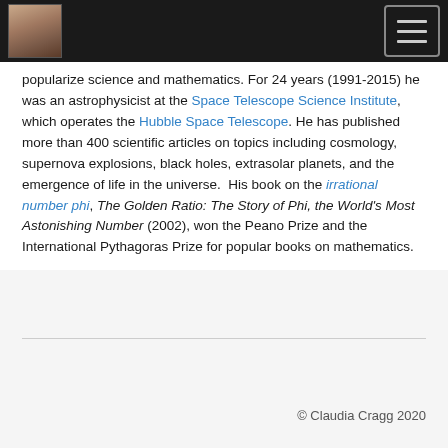[navigation header with photo and menu button]
popularize science and mathematics. For 24 years (1991-2015) he was an astrophysicist at the Space Telescope Science Institute, which operates the Hubble Space Telescope. He has published more than 400 scientific articles on topics including cosmology, supernova explosions, black holes, extrasolar planets, and the emergence of life in the universe.  His book on the irrational number phi, The Golden Ratio: The Story of Phi, the World's Most Astonishing Number (2002), won the Peano Prize and the International Pythagoras Prize for popular books on mathematics.
© Claudia Cragg 2020